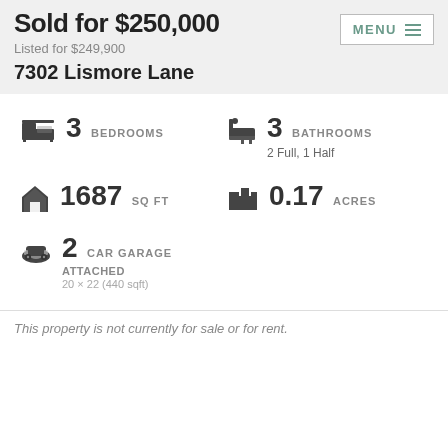Sold for $250,000
Listed for $249,900
7302 Lismore Lane
3 BEDROOMS
3 BATHROOMS
2 Full, 1 Half
1687 SQ FT
0.17 ACRES
2 CAR GARAGE
ATTACHED
20 × 22 (440 sqft)
This property is not currently for sale or for rent.